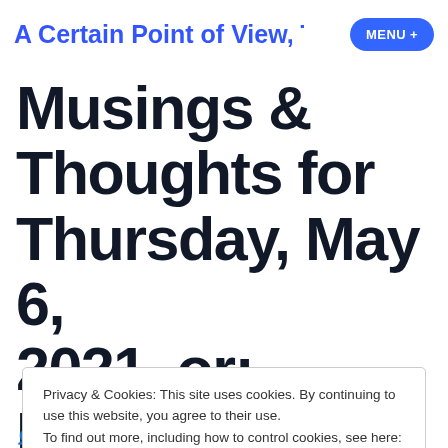A Certain Point of View, Too  MENU +
Musings & Thoughts for Thursday, May 6, 2021, or: Keeping
Privacy & Cookies: This site uses cookies. By continuing to use this website, you agree to their use.
To find out more, including how to control cookies, see here: Cookie Policy
Close and accept
Alex Diaz-Granados   May 6, 2021